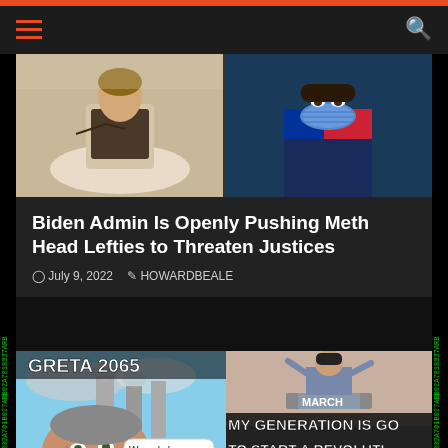Navigation header with hamburger menu and search icon
[Figure (photo): Split hero image showing two people - left side appears to be a woman on horseback, right side shows a person wearing a blue surgical mask]
Biden Admin Is Openly Pushing Meth Head Lefties to Threaten Justices
July 9, 2022  HOWARDBEALE
[Figure (photo): Meme showing an aged woman with text 'GRETA 2065' at top and speech bubble saying 'We only have 1 month to save the World.' with EU flag in background]
[Figure (photo): Meme showing a young person at a podium with text 'MARCH' and 'MY GENERATION IS GO TO START A REVOLUTI' and below a police-style character with text 'YOUR GENERATION CA']